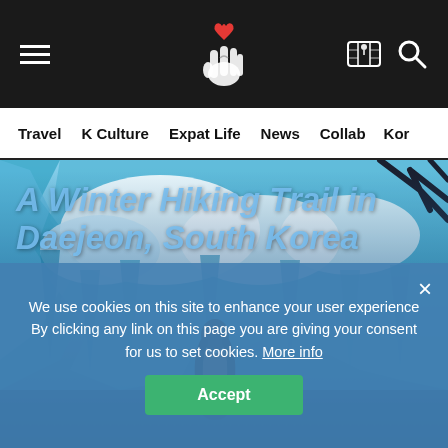Navigation bar with hamburger menu, logo (finger heart icon), map icon, and search icon
Travel
K Culture
Expat Life
News
Collab
Kor
[Figure (photo): A person with long dark hair wearing a brown jacket stands facing a large blue ice wall/frozen waterfall. The scene is wintery with bare tree branches visible at the top right. The ice formations are dramatic shades of blue and white.]
A Winter Hiking Trail in Daejeon, South Korea
We use cookies on this site to enhance your user experience By clicking any link on this page you are giving your consent for us to set cookies. More info
Accept